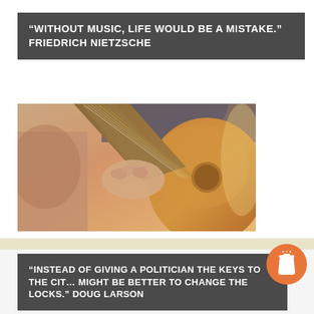“Without music, life would be a mistake.” Friedrich Nietzsche
[Figure (photo): Close-up photo of a person's hand playing an acoustic guitar, showing the guitar body, strings, and fretboard. The image has warm brown tones with a blurred background.]
“Instead of giving a politician the keys to the city, it might be better to change the locks.” Doug Larson